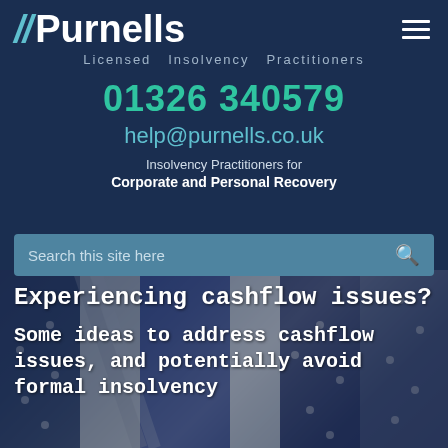[Figure (logo): Purnells Licensed Insolvency Practitioners logo with diagonal slash marks and hamburger menu icon on dark navy background]
Licensed Insolvency Practitioners
01326 340579
help@purnells.co.uk
Insolvency Practitioners for Corporate and Personal Recovery
Search this site here
[Figure (photo): Background photo of blue and white neckties/suits with dark overlay]
Experiencing cashflow issues?
Some ideas to address cashflow issues, and potentially avoid formal insolvency